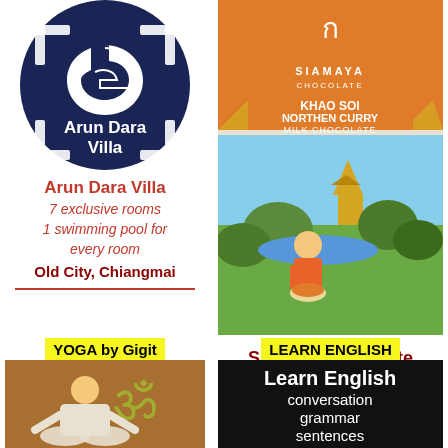[Figure (logo): Arun Dara Villa circular dark navy logo with stylized G/swirl motif]
Arun Dara Villa
7 exclusive rooms
1 swimming pool for every room
Old City, Chiangmai
[Figure (photo): Siamaya Chocolate product packaging - Khao Soi Northern Curry Milk Chocolate bar with illustration of person eating noodles in Thai landscape]
Siamaya Chocolate
Free Standard Shipping on orders +1000 Baht
Chiangmai, TH
YOGA by Gigit
LEARN ENGLISH
[Figure (photo): Person meditating in yoga pose with Om symbol in background]
[Figure (photo): Learn English chalkboard sign with text: Learn English, conversation, grammar, sentences]